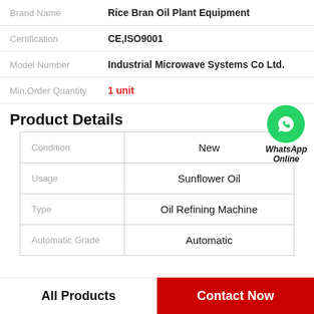| Field | Value |
| --- | --- |
| Brand Name | Rice Bran Oil Plant Equipment |
| Certification | CE,ISO9001 |
| Model Number | Industrial Microwave Systems Co Ltd. |
| Min.Order Quantity | 1 unit |
Product Details
[Figure (logo): WhatsApp Online green circle badge with phone icon and text 'WhatsApp Online']
| Field | Value |
| --- | --- |
| Condition | New |
| Usage | Sunflower Oil |
| Type | Oil Refining Machine |
| Automatic Grade | Automatic |
All Products
Contact Now